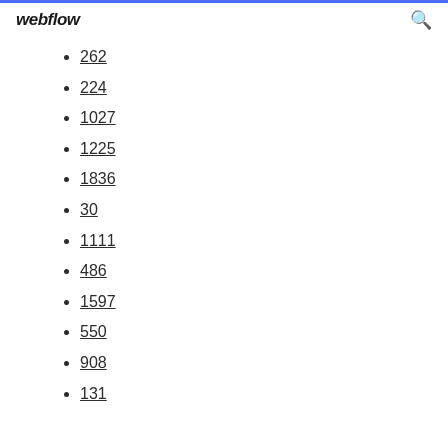webflow
262
224
1027
1225
1836
30
1111
486
1597
550
908
131